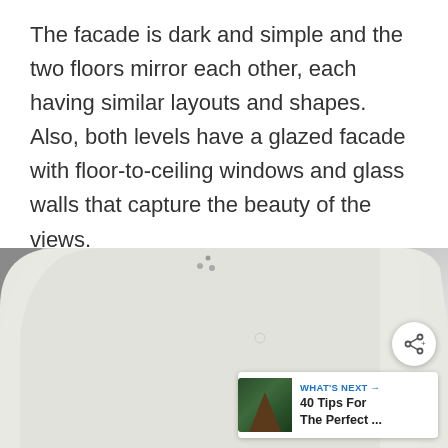The facade is dark and simple and the two floors mirror each other, each having similar layouts and shapes. Also, both levels have a glazed facade with floor-to-ceiling windows and glass walls that capture the beauty of the views.
[Figure (photo): Close-up photograph of a white rounded architectural surface or object against a gray background, with small metallic studs visible at the top. A share button and 'What's Next' card overlay are visible.]